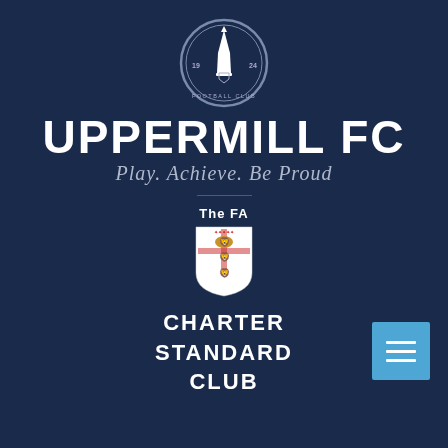[Figure (logo): Uppermill Football Club circular badge with tower/monument silhouette, years 19 and 24, and 'Football Club' text around the border]
UPPERMILL FC
Play. Achieve. Be Proud
[Figure (logo): The FA crest showing three lions on a shield with 'The FA' text above]
CHARTER STANDARD CLUB